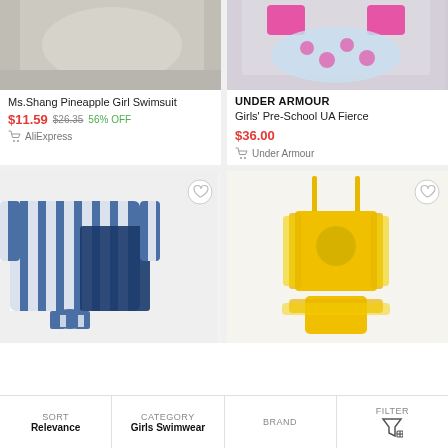[Figure (photo): Top-left: partial swimsuit product image on grey background]
[Figure (photo): Top-right: partial pink/leopard print bikini product image]
UNDER ARMOUR
Ms.Shang Pineapple Girl Swimsuit
$11.59  $26.35  56% OFF
AliExpress
Girls' Pre-School UA Fierce
$36.00
Under Armour
[Figure (photo): Bottom-left: blue and white striped girl swimsuit set]
[Figure (photo): Bottom-right: yellow Belle princess ruffled swimsuit]
SORT
Relevance
CATEGORY
Girls Swimwear
BRAND
FILTER